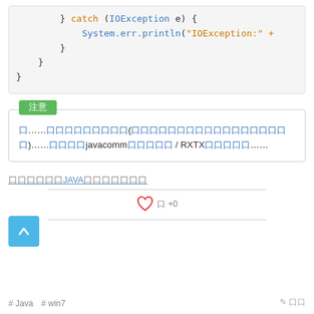[Figure (screenshot): Java code block showing catch(IOException e) with System.err.println and closing braces]
注意 (note box): 如果……您的系统没有安装串行通讯API(没有则需要安装串行通讯API包)……试着使用javacomm串行通讯 / RXTX串行通讯……
如何在JAVA中读取串口数据
[Figure (infographic): Heart icon with like count +0]
# Java  # win7